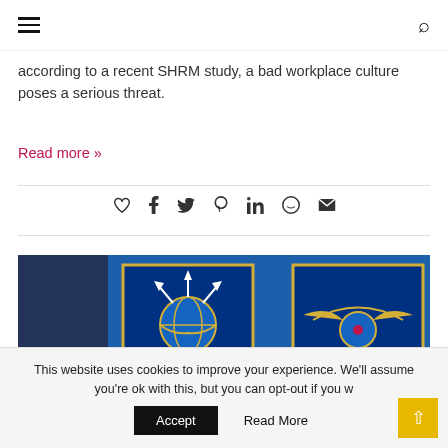Navigation bar with hamburger menu and search icon
according to a recent SHRM study, a bad workplace culture poses a serious threat.
Read more »
[Figure (illustration): Social share icons row: heart/like, Facebook, Twitter, Pinterest, LinkedIn, WhatsApp, email]
[Figure (photo): Blue-tinted composite photo with two military/Air Force crests: left one showing a globe with arrows (sustain/dync center), right one showing wings with Oklahoma City ALC emblem]
This website uses cookies to improve your experience. We'll assume you're ok with this, but you can opt-out if you w
Accept   Read More